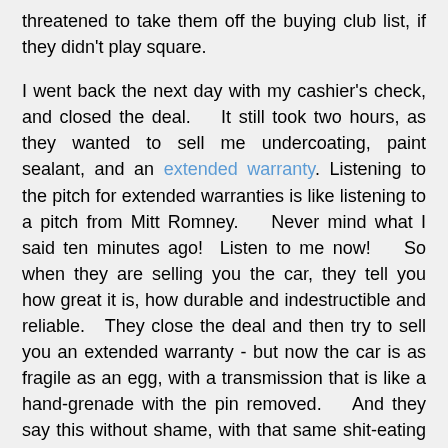threatened to take them off the buying club list, if they didn't play square.
I went back the next day with my cashier's check, and closed the deal.   It still took two hours, as they wanted to sell me undercoating, paint sealant, and an extended warranty. Listening to the pitch for extended warranties is like listening to a pitch from Mitt Romney.   Never mind what I said ten minutes ago!  Listen to me now!   So when they are selling you the car, they tell you how great it is, how durable and indestructible and reliable.   They close the deal and then try to sell you an extended warranty - but now the car is as fragile as an egg, with a transmission that is like a hand-grenade with the pin removed.   And they say this without shame, with that same shit-eating grin that Mitt Romney has.   And most people fall for this - they fall for salesmen - which is sadly why Mitt Romney is gaining so much in the polls.   Scratch a Romney supporter, and you'll find someone who leases or buys new cars every three years and thinks they are getting a "deal".
Did I get a good "deal"?  Well, I could have bought a similar